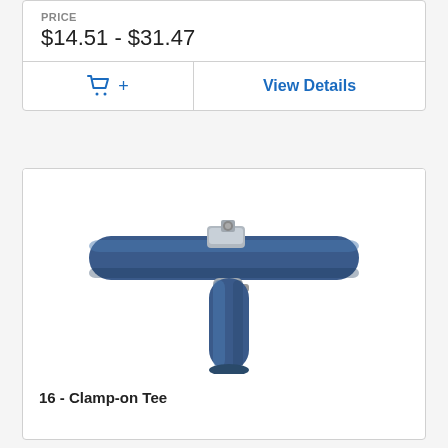PRICE
$14.51 - $31.47
+ View Details
[Figure (photo): Photo of a Clamp-on Tee pipe fitting — a silver metallic clamp connector joining a horizontal blue pipe with a vertical blue pipe in a T-shape.]
16 - Clamp-on Tee